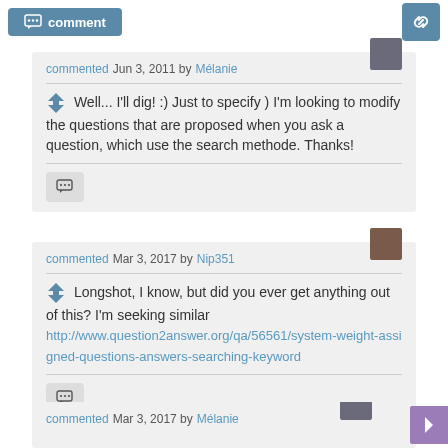comment
commented Jun 3, 2011 by Mélanie
Well... I'll dig! :) Just to specify ) I'm looking to modify the questions that are proposed when you ask a question, which use the search methode. Thanks!
commented Mar 3, 2017 by Nip351
Longshot, I know, but did you ever get anything out of this?  I'm seeking similar http://www.question2answer.org/qa/56561/system-weight-assigned-questions-answers-searching-keyword
commented Mar 3, 2017 by Mélanie